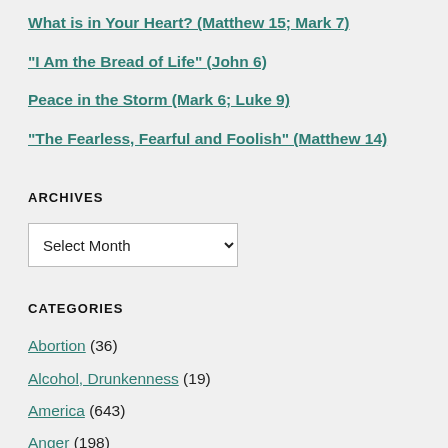What is in Your Heart? (Matthew 15; Mark 7)
"I Am the Bread of Life" (John 6)
Peace in the Storm (Mark 6; Luke 9)
"The Fearless, Fearful and Foolish" (Matthew 14)
ARCHIVES
Select Month
CATEGORIES
Abortion (36)
Alcohol, Drunkenness (19)
America (643)
Anger (198)
Attitude (699)